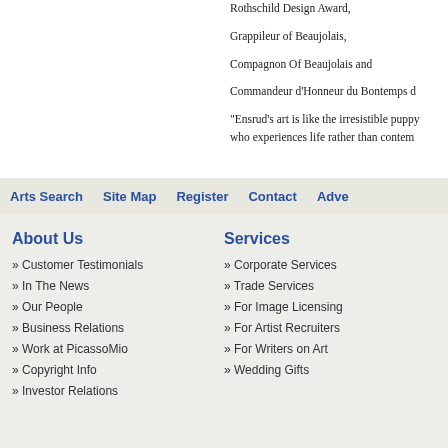Rothschild Design Award,
Grappileur of Beaujolais,
Compagnon Of Beaujolais and
Commandeur d'Honneur du Bontemps d
"Ensrud's art is like the irresistible puppy who experiences life rather than contem
Arts Search   Site Map   Register   Contact   Adve
About Us
» Customer Testimonials
» In The News
» Our People
» Business Relations
» Work at PicassoMio
» Copyright Info
» Investor Relations
Services
» Corporate Services
» Trade Services
» For Image Licensing
» For Artist Recruiters
» For Writers on Art
» Wedding Gifts